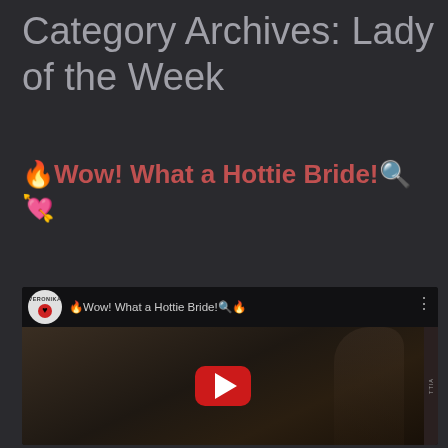Category Archives: Lady of the Week
🔥Wow! What a Hottie Bride!🔍 💘
[Figure (screenshot): YouTube video thumbnail showing a woman in a dance/movement pose with the video title 'Wow! What a Hottie Bride!' and the VERONIKA channel icon with a heart logo. A red YouTube play button is centered on the video frame.]